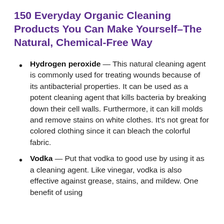150 Everyday Organic Cleaning Products You Can Make Yourself–The Natural, Chemical-Free Way
Hydrogen peroxide — This natural cleaning agent is commonly used for treating wounds because of its antibacterial properties. It can be used as a potent cleaning agent that kills bacteria by breaking down their cell walls. Furthermore, it can kill molds and remove stains on white clothes. It's not great for colored clothing since it can bleach the colorful fabric.
Vodka — Put that vodka to good use by using it as a cleaning agent. Like vinegar, vodka is also effective against grease, stains, and mildew. One benefit of using